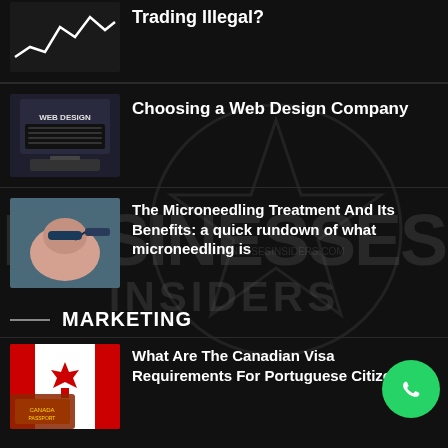[Figure (screenshot): Partial article thumbnail showing a line chart on dark background (Trading Illegal article, partially visible at top)]
Trading Illegal?
[Figure (photo): Person typing on laptop showing web design content]
Choosing a Web Design Company
[Figure (photo): Person receiving microneedling facial treatment]
The Microneedling Treatment And Its Benefits: a quick rundown of what microneedling is
MARKETING
[Figure (photo): Canadian flag and passport]
What Are The Canadian Visa Requirements For Portuguese Citizens?